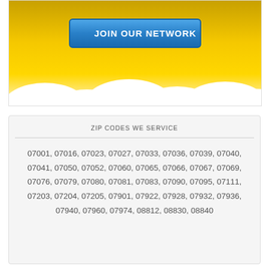[Figure (illustration): Yellow and gold gradient banner with clouds at the bottom and a blue 'JOIN OUR NETWORK' button in the center]
ZIP CODES WE SERVICE
07001, 07016, 07023, 07027, 07033, 07036, 07039, 07040, 07041, 07050, 07052, 07060, 07065, 07066, 07067, 07069, 07076, 07079, 07080, 07081, 07083, 07090, 07095, 07111, 07203, 07204, 07205, 07901, 07922, 07928, 07932, 07936, 07940, 07960, 07974, 08812, 08830, 08840